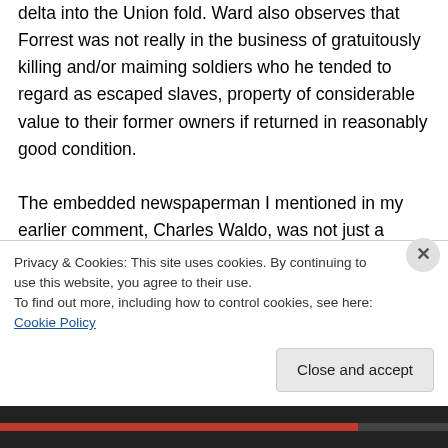delta into the Union fold. Ward also observes that Forrest was not really in the business of gratuitously killing and/or maiming soldiers who he tended to regard as escaped slaves, property of considerable value to their former owners if returned in reasonably good condition.

The embedded newspaperman I mentioned in my earlier comment, Charles Waldo, was not just a reporter, but an editor and part owner of the West Bend Post, a paper that had been called the West Bend Democrat when he and two
Privacy & Cookies: This site uses cookies. By continuing to use this website, you agree to their use.
To find out more, including how to control cookies, see here: Cookie Policy